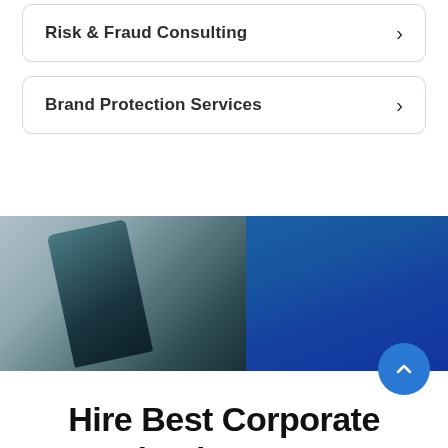Risk & Fraud Consulting
Brand Protection Services
[Figure (photo): Split image: left side shows a close-up of a dark teal/grey angled object (possibly a laptop or device), right side shows a solid blue background]
Hire Best Corporate Investigation Compnay